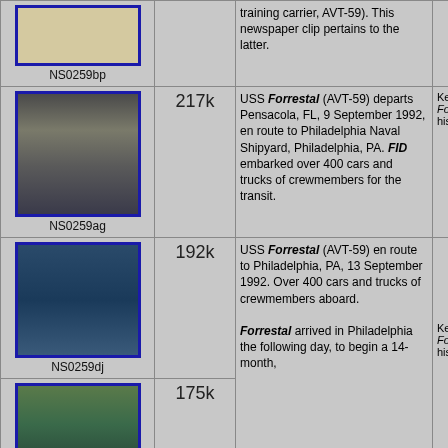| Image | Size | Description | Credit |
| --- | --- | --- | --- |
| NS0259bp | — | training carrier, AVT-59). This newspaper clip pertains to the latter. |  |
| NS0259ag | 217k | USS Forrestal (AVT-59) departs Pensacola, FL, 9 September 1992, en route to Philadelphia Naval Shipyard, Philadelphia, PA. FID embarked over 400 cars and trucks of crewmembers for the transit. | Ken Kil... Forresta... historia... |
| NS0259dj | 192k | USS Forrestal (AVT-59) en route to Philadelphia, PA, 13 September 1992. Over 400 cars and trucks of crewmembers aboard. |  |
| (aerial2) | 175k | Forrestal arrived in Philadelphia the following day, to begin a 14-month, | Ken Kil... Forresta... historia... |